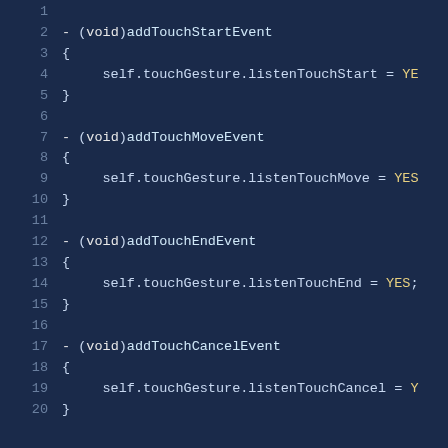[Figure (screenshot): Code editor screenshot showing Objective-C methods addTouchStartEvent, addTouchMoveEvent, addTouchEndEvent, and addTouchCancelEvent, lines 1-20, dark blue background with monospace font.]